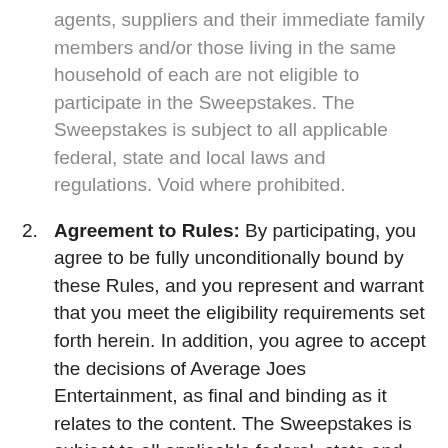agents, suppliers and their immediate family members and/or those living in the same household of each are not eligible to participate in the Sweepstakes. The Sweepstakes is subject to all applicable federal, state and local laws and regulations. Void where prohibited.
Agreement to Rules: By participating, you agree to be fully unconditionally bound by these Rules, and you represent and warrant that you meet the eligibility requirements set forth herein. In addition, you agree to accept the decisions of Average Joes Entertainment, as final and binding as it relates to the content. The Sweepstakes is subject to all applicable federal, state and local laws.
Sweepstakes Period: Entries will be accepted online starting on or about May 20, 2021 and